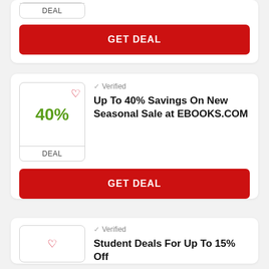[Figure (screenshot): Top of a deal card partially visible, showing a deal box with 'DEAL' label at bottom]
GET DEAL
[Figure (screenshot): Deal card showing 40% savings with heart icon, verified badge, and title 'Up To 40% Savings On New Seasonal Sale at EBOOKS.COM']
Verified
Up To 40% Savings On New Seasonal Sale at EBOOKS.COM
GET DEAL
[Figure (screenshot): Bottom partial deal card showing heart icon and 'Verified' badge with partial title 'Student Deals For Up To 15% Off']
Verified
Student Deals For Up To 15% Off